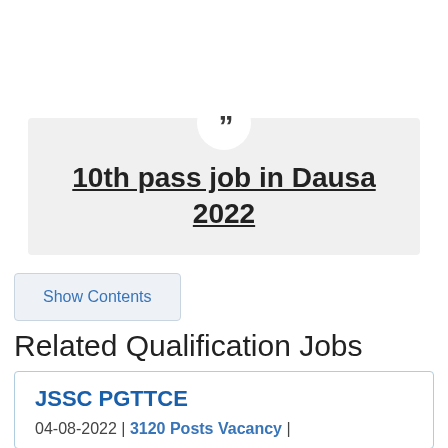[Figure (illustration): Quote block with large quotation mark icon in a circle at top center, gray background box containing the title '10th pass job in Dausa 2022' in bold underlined text]
10th pass job in Dausa 2022
Show Contents
Related Qualification Jobs
JSSC PGTTCE
04-08-2022 | 3120 Posts Vacancy |